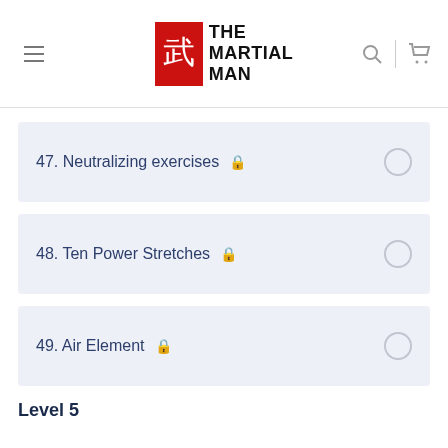The Martial Man
47. Neutralizing exercises 🔒
48. Ten Power Stretches 🔒
49. Air Element 🔒
Level 5